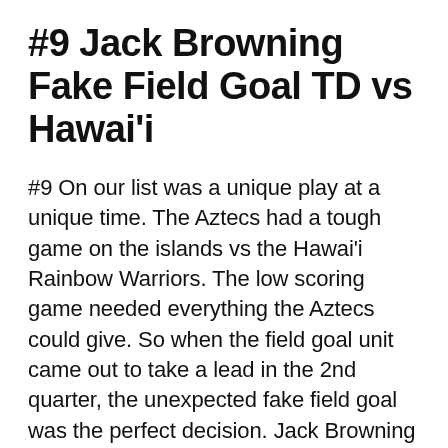#9 Jack Browning Fake Field Goal TD vs Hawai'i
#9 On our list was a unique play at a unique time. The Aztecs had a tough game on the islands vs the Hawai'i Rainbow Warriors. The low scoring game needed everything the Aztecs could give. So when the field goal unit came out to take a lead in the 2nd quarter, the unexpected fake field goal was the perfect decision. Jack Browning took the hike and slipped by around the edge, with some power blocking help, into the endzone and an unforgettable moment. That score helped distance SDSU enough and